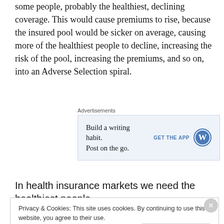some people, probably the healthiest, declining coverage. This would cause premiums to rise, because the insured pool would be sicker on average, causing more of the healthiest people to decline, increasing the risk of the pool, increasing the premiums, and so on, into an Adverse Selection spiral.
[Figure (other): Advertisement banner for WordPress app: 'Build a writing habit. Post on the go.' with GET THE APP button and WordPress logo]
In health insurance markets we need the healthiest people
Privacy & Cookies: This site uses cookies. By continuing to use this website, you agree to their use.
To find out more, including how to control cookies, see here: Cookie Policy